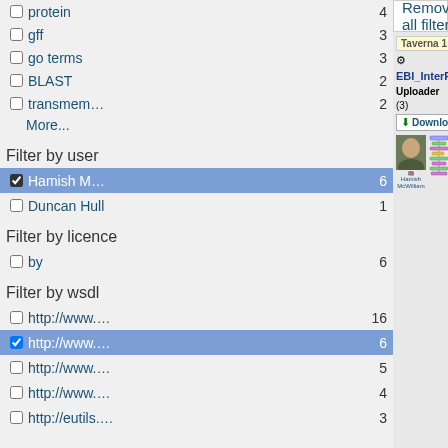protein  4
gff  3
go terms  3
BLAST  2
transmem...  2
More...
Filter by user
Hamish M...  6
Duncan Hull  1
Filter by licence
by  6
Filter by wsdl
http://www....  16
http://www....  6
http://www....  5
http://www....  4
http://eutils...  3
Remove all filters
Taverna 1
EBI_InterProScan
Uploader
(3)
Download
Hamish McWilliam
Note: the WSInterProScan web service used by this workflow is no longer available haveing been replaced by the EMBL-EBI's InterProScan (REST) (http://www.ebi.ac.uk/Tools/webservices/services/pfa/iprscan_rest) and InterProScan (SOAP)